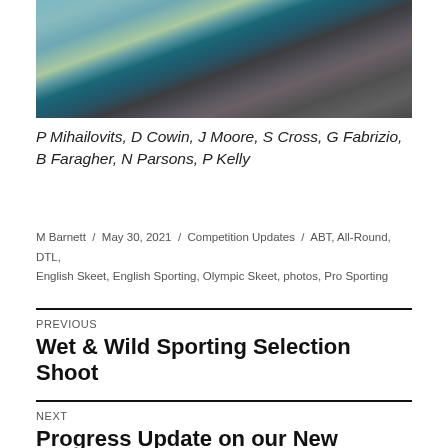[Figure (photo): Group photo of people shaking hands outdoors, partially cropped at top of page]
P Mihailovits, D Cowin, J Moore, S Cross, G Fabrizio, B Faragher, N Parsons, P Kelly
M Barnett / May 30, 2021 / Competition Updates / ABT, All-Round, DTL, English Skeet, English Sporting, Olympic Skeet, photos, Pro Sporting
Previous
Wet & Wild Sporting Selection Shoot
Next
Progress Update on our New Shelter